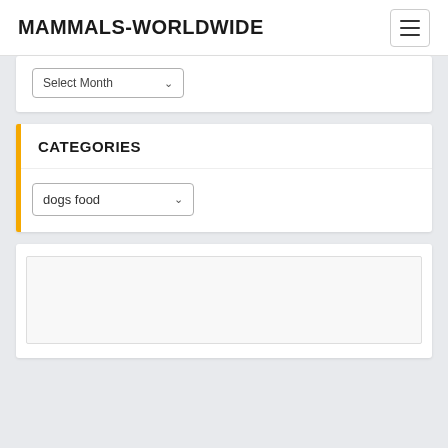MAMMALS-WORLDWIDE
[Figure (screenshot): Navigation hamburger menu icon (three horizontal lines) in a bordered box]
[Figure (screenshot): Select Month dropdown widget]
CATEGORIES
[Figure (screenshot): dogs food dropdown select widget]
[Figure (screenshot): Empty advertisement or content widget area]